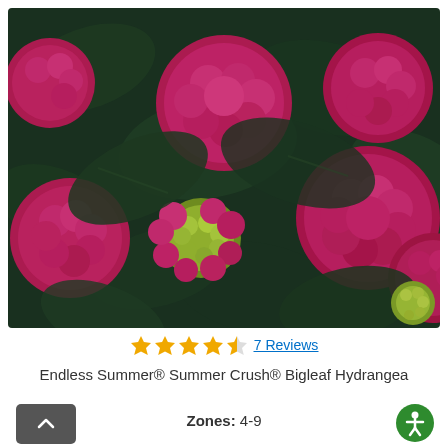[Figure (photo): Close-up photo of Endless Summer Summer Crush Bigleaf Hydrangea with multiple large bright pink/magenta flower clusters and dark green leaves]
★★★★½ 7 Reviews
Endless Summer® Summer Crush® Bigleaf Hydrangea
Zones: 4-9